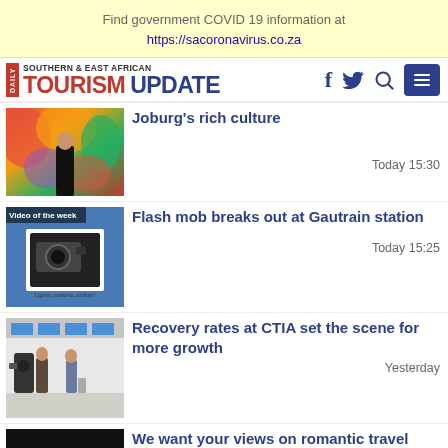Find government COVID 19 information at https://sacoronavirus.co.za
[Figure (logo): Daily Southern & East African Tourism Update logo with social media icons]
Joburg's rich culture
Today 15:30
[Figure (photo): Person standing in front of colorful artwork mural]
Flash mob breaks out at Gautrain station
Today 15:25
[Figure (photo): Video of the week - camera photo on blue background]
Recovery rates at CTIA set the scene for more growth
Yesterday
[Figure (photo): Airport scene with travellers and equipment]
We want your views on romantic travel
[Figure (photo): Dark background image]